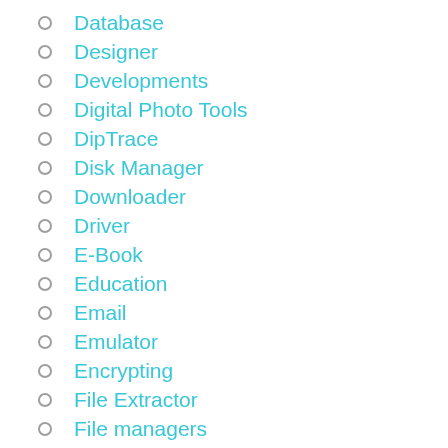Database
Designer
Developments
Digital Photo Tools
DipTrace
Disk Manager
Downloader
Driver
E-Book
Education
Email
Emulator
Encrypting
File Extractor
File managers